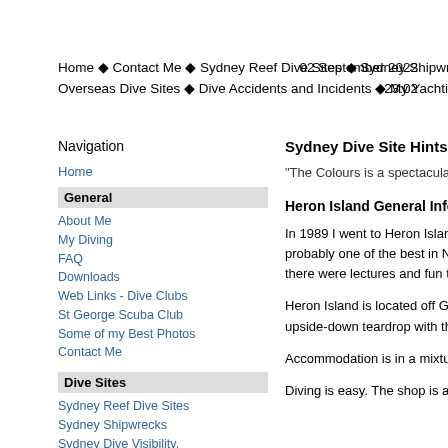Home ◆ Contact Me ◆ Sydney Reef Dive Sites ◆ Sydney Shipwrecks ◆ NSW Dive Sites ◆ Australian Dive Sites ◆ Overseas Dive Sites ◆ Dive Accidents and Incidents ◆ My Yachting Adventures ◆ 4WD Trips ◆ Weather ◆ Search
02 September 2022 23:02
Navigation
Home
General
About Me
My Diving
FAQ
Downloads
Web Links - Dive Clubs
St George Scuba Club
Some of my Best Photos
Contact Me
Dive Sites
Sydney Reef Dive Sites
Sydney Shipwrecks
Sydney Dive Visibility, Swell and Temps
Kelly Talking on ABC Sydney about Shipwrecks
NSW Dive Sites
Sydney Shipwreck Summary
NSW Shipwreck GPS/Marks
Sydney Dive Site Hints
"The Colours is a spectacular dive site"
Heron Island General Information
In 1989 I went to Heron Island twice for a week's diving. Eve week was in June when I went on a trip with some friends. T probably one of the best in NSW). The second trip was in N a great event. As well as being able to dive some great dive there were lectures and fun things on every day.
Heron Island is located off Gladstone on the Queensland co not big, you can walk across it in a few minutes and right are an upside-down teardrop with the pointy end up north. The n eastern sides as well as on the nearby Wistari Reef.
Accommodation is in a mixture of types, ranging from share nowhere else to eat, it was pretty good back then so I assur
Diving is easy. The shop is a short distance away from the a to be hulls from houseboats. Very wide and flat, they were q